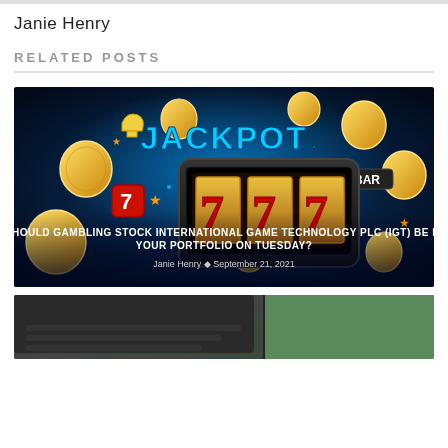Janie Henry
RELATED POSTS
[Figure (illustration): Jackpot themed casino image showing a smartphone slot machine displaying 777, surrounded by flying gold coins, dice, stars, and casino elements. Text overlay reads JACKPOT in glowing blue letters. Bottom overlay text: SHOULD GAMBLING STOCK INTERNATIONAL GAME TECHNOLOGY PLC (IGT) BE IN YOUR PORTFOLIO ON TUESDAY? Janie Henry • September 21, 2021]
[Figure (photo): Partial view of a laptop on a green surface, showing the top edge and keyboard area in dark gray/black]